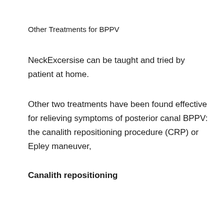Other Treatments for BPPV
NeckExcersise can be taught and tried by patient at home.
Other two treatments have been found effective for relieving symptoms of posterior canal BPPV: the canalith repositioning procedure (CRP) or Epley maneuver,
Canalith repositioning